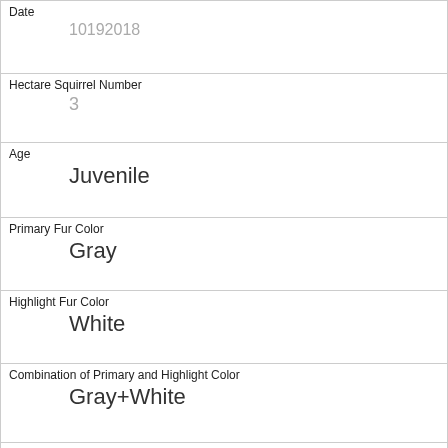| Date | 10192018 |
| Hectare Squirrel Number | 3 |
| Age | Juvenile |
| Primary Fur Color | Gray |
| Highlight Fur Color | White |
| Combination of Primary and Highlight Color | Gray+White |
| Color notes |  |
| Location | Above Ground |
| Above Ground Sighter Measurement | 15 |
| Specific Location | in tree! |
| Running |  |